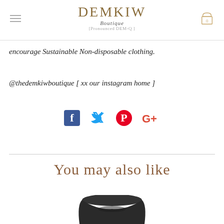DEMKIW Boutique [Pronounced DEM-Q]
encourage Sustainable Non-disposable clothing.
@thedemkiwboutique [ xx our instagram home ]
[Figure (infographic): Social media icons: Facebook (blue), Twitter (blue), Pinterest (red), Google+ (red)]
You may also like
[Figure (photo): Dark clothing product photo, partially visible at bottom of page]